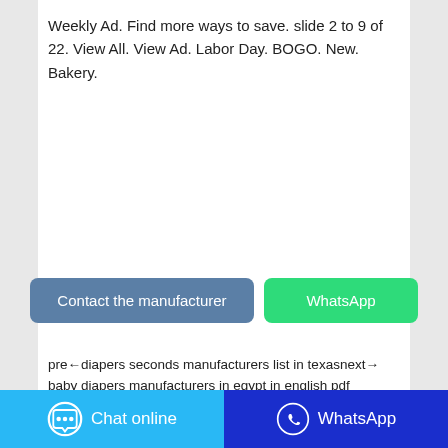Weekly Ad. Find more ways to save. slide 2 to 9 of 22. View All. View Ad. Labor Day. BOGO. New. Bakery.
[Figure (other): Buttons: 'Contact the manufacturer' (blue-grey) and 'WhatsApp' (green)]
pre←diapers seconds manufacturers list in texas→next→ baby diapers manufacturers in egypt in english pdf download
Related Posts
pants type diaper covers for girls waterproof
[Figure (other): Bottom bar with two buttons: 'Chat online' (blue) on the left and 'WhatsApp' (dark blue) on the right, each with icons]